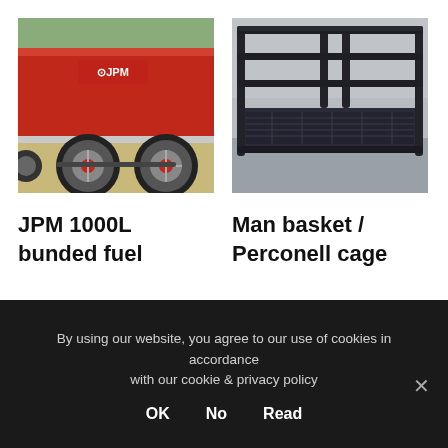[Figure (photo): Red JPM 1000L bunded fuel trailer showing dual axle with wheels on gravel surface, JPM logo visible on the red tank body]
[Figure (photo): Black metal man basket / Perconell cage with chequer plate floor and tubular steel frame construction, photographed outdoors]
JPM 1000L
bunded fuel
Man basket /
Perconell cage
By using our website, you agree to our use of cookies in accordance with our cookie & privacy policy
OK   No   Read